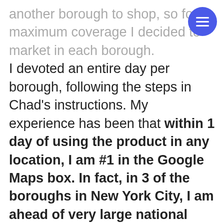another borough to shop, so for maximum coverage I decided to market in each borough.
I devoted an entire day per borough, following the steps in Chad's instructions. My experience has been that within 1 day of using the product in any location, I am #1 in the Google Maps box. In fact, in 3 of the boroughs in New York City, I am ahead of very large national chains.
One unexpected bonus is that Google apparently assumes that distance covered matters in what it puts in a 10-box, not borough location, so in Queens I am number 1 in the 10-box and my Brooklyn